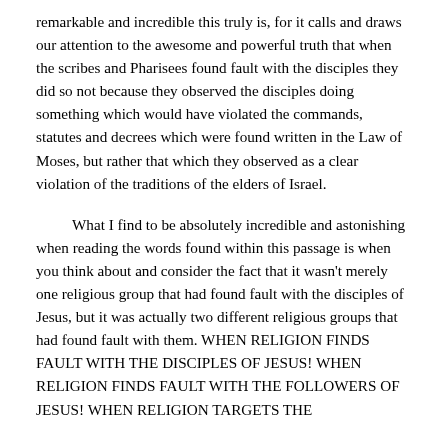remarkable and incredible this truly is, for it calls and draws our attention to the awesome and powerful truth that when the scribes and Pharisees found fault with the disciples they did so not because they observed the disciples doing something which would have violated the commands, statutes and decrees which were found written in the Law of Moses, but rather that which they observed as a clear violation of the traditions of the elders of Israel.
What I find to be absolutely incredible and astonishing when reading the words found within this passage is when you think about and consider the fact that it wasn't merely one religious group that had found fault with the disciples of Jesus, but it was actually two different religious groups that had found fault with them. WHEN RELIGION FINDS FAULT WITH THE DISCIPLES OF JESUS! WHEN RELIGION FINDS FAULT WITH THE FOLLOWERS OF JESUS! WHEN RELIGION TARGETS THE